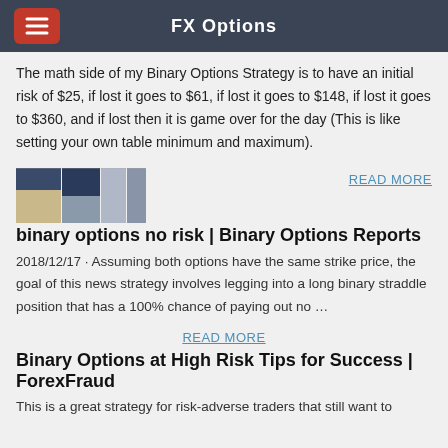FX Options
The math side of my Binary Options Strategy is to have an initial risk of $25, if lost it goes to $61, if lost it goes to $148, if lost it goes to $360, and if lost then it is game over for the day (This is like setting your own table minimum and maximum).
[Figure (screenshot): Thumbnail image showing trading chart with blue and beige colors]
READ MORE
binary options no risk | Binary Options Reports
2018/12/17 · Assuming both options have the same strike price, the goal of this news strategy involves legging into a long binary straddle position that has a 100% chance of paying out no …
READ MORE
Binary Options at High Risk Tips for Success | ForexFraud
This is a great strategy for risk-adverse traders that still want to